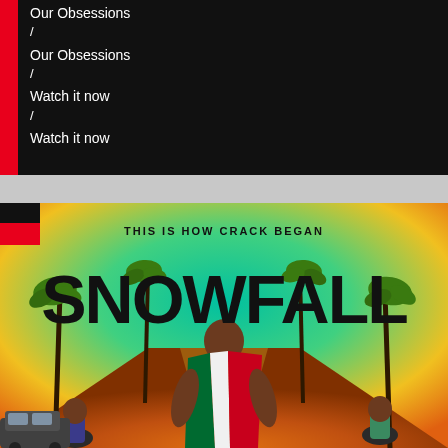Our Obsessions
/
Our Obsessions
/
Watch it now
/
Watch it now
[Figure (illustration): Promotional poster for the TV show 'Snow Fall' featuring a figure draped in an Italian flag standing in a stylized Los Angeles cityscape with palm trees and a colorful sky. The tagline reads 'This is how crack began'.]